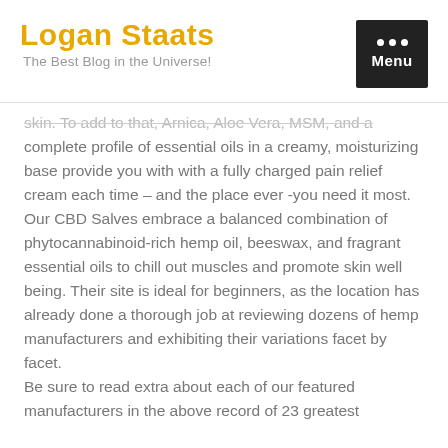Logan Staats
The Best Blog in the Universe!
skin. To add to that, Arnica, Aloe Vera, MSM, and a complete profile of essential oils in a creamy, moisturizing base provide you with with a fully charged pain relief cream each time – and the place ever -you need it most. Our CBD Salves embrace a balanced combination of phytocannabinoid-rich hemp oil, beeswax, and fragrant essential oils to chill out muscles and promote skin well being. Their site is ideal for beginners, as the location has already done a thorough job at reviewing dozens of hemp manufacturers and exhibiting their variations facet by facet.
Be sure to read extra about each of our featured manufacturers in the above record of 23 greatest